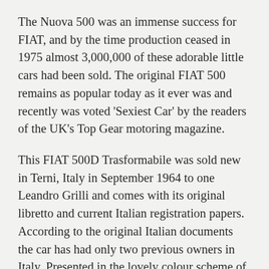The Nuova 500 was an immense success for FIAT, and by the time production ceased in 1975 almost 3,000,000 of these adorable little cars had been sold. The original FIAT 500 remains as popular today as it ever was and recently was voted 'Sexiest Car' by the readers of the UK's Top Gear motoring magazine.
This FIAT 500D Trasformabile was sold new in Terni, Italy in September 1964 to one Leandro Grilli and comes with its original libretto and current Italian registration papers. According to the original Italian documents the car has had only two previous owners in Italy. Presented in the lovely colour scheme of Verde Acquamarina over a red interior, the car has benefitted from an extensive restoration to a very high standard which was finished in 2016. Today the car is still presented in excellent condition, ready to